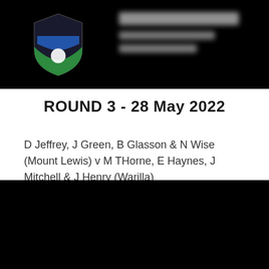[Figure (photo): Top image: dark/black background with a sports shield/crest logo on the left (green, blue, and white colors) and blurred text on the right]
ROUND 3 - 28 May 2022
D Jeffrey, J Green, B Glasson & N Wise (Mount Lewis) v M THorne, E Haynes, J Mitchell & J Henry (Warilla)
[Figure (photo): Bottom image: completely black/dark rectangle]